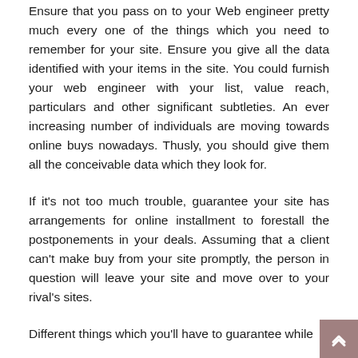Ensure that you pass on to your Web engineer pretty much every one of the things which you need to remember for your site. Ensure you give all the data identified with your items in the site. You could furnish your web engineer with your list, value reach, particulars and other significant subtleties. An ever increasing number of individuals are moving towards online buys nowadays. Thusly, you should give them all the conceivable data which they look for.
If it's not too much trouble, guarantee your site has arrangements for online installment to forestall the postponements in your deals. Assuming that a client can't make buy from your site promptly, the person in question will leave your site and move over to your rival's sites.
Different things which you'll have to guarantee while